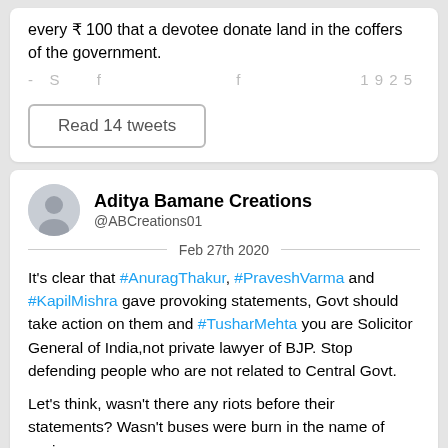every ₹ 100 that a devotee donate land in the coffers of the government.
(faded/partially visible line)
Read 14 tweets
Aditya Bamane Creations @ABCreations01
Feb 27th 2020
It's clear that #AnuragThakur, #PraveshVarma and #KapilMishra gave provoking statements, Govt should take action on them and #TusharMehta you are Solicitor General of India,not private lawyer of BJP. Stop defending people who are not related to Central Govt.
Let's think, wasn't there any riots before their statements? Wasn't buses were burn in the name of saying